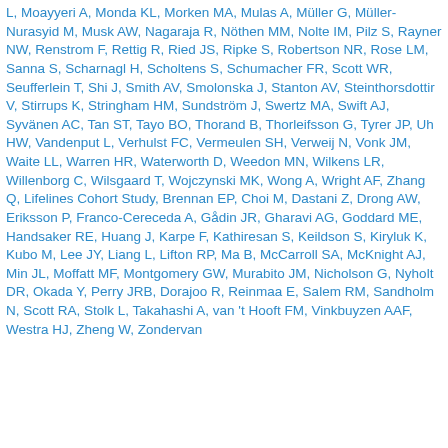L, Moayyeri A, Monda KL, Morken MA, Mulas A, Müller G, Müller-Nurasyid M, Musk AW, Nagaraja R, Nöthen MM, Nolte IM, Pilz S, Rayner NW, Renstrom F, Rettig R, Ried JS, Ripke S, Robertson NR, Rose LM, Sanna S, Scharnagl H, Scholtens S, Schumacher FR, Scott WR, Seufferlein T, Shi J, Smith AV, Smolonska J, Stanton AV, Steinthorsdottir V, Stirrups K, Stringham HM, Sundström J, Swertz MA, Swift AJ, Syvänen AC, Tan ST, Tayo BO, Thorand B, Thorleifsson G, Tyrer JP, Uh HW, Vandenput L, Verhulst FC, Vermeulen SH, Verweij N, Vonk JM, Waite LL, Warren HR, Waterworth D, Weedon MN, Wilkens LR, Willenborg C, Wilsgaard T, Wojczynski MK, Wong A, Wright AF, Zhang Q, Lifelines Cohort Study, Brennan EP, Choi M, Dastani Z, Drong AW, Eriksson P, Franco-Cereceda A, Gådin JR, Gharavi AG, Goddard ME, Handsaker RE, Huang J, Karpe F, Kathiresan S, Keildson S, Kiryluk K, Kubo M, Lee JY, Liang L, Lifton RP, Ma B, McCarroll SA, McKnight AJ, Min JL, Moffatt MF, Montgomery GW, Murabito JM, Nicholson G, Nyholt DR, Okada Y, Perry JRB, Dorajoo R, Reinmaa E, Salem RM, Sandholm N, Scott RA, Stolk L, Takahashi A, van 't Hooft FM, Vinkbuyzen AAF, Westra HJ, Zheng W, Zondervan